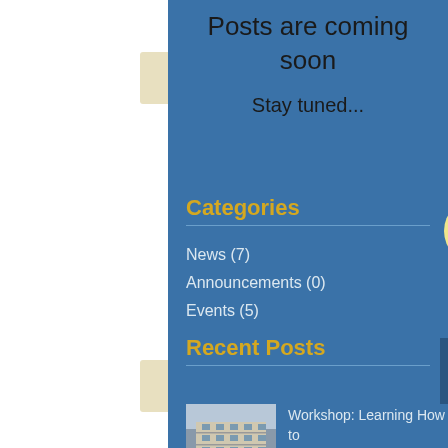Posts are coming soon
Stay tuned...
Categories
News (7)
Announcements (0)
Events (5)
Recent Posts
Workshop: Learning How to Learn at V.C.S.H.S.S, Puthenvelikara